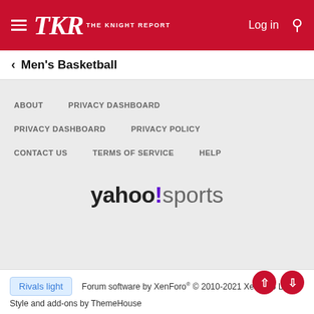[Figure (logo): TKR The Knight Report logo on red background with hamburger menu, Log in, and search icon]
< Men's Basketball
ABOUT
PRIVACY DASHBOARD
PRIVACY DASHBOARD
PRIVACY POLICY
CONTACT US
TERMS OF SERVICE
HELP
[Figure (logo): yahoo!sports logo]
Rivals light   Forum software by XenForo® © 2010-2021 XenForo Ltd.  Style and add-ons by ThemeHouse